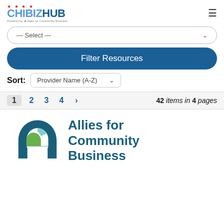CHIBIZHUB — navigation header with hamburger menu
— Select —
Filter Resources
Sort: Provider Name (A-Z)
1 2 3 4 > 42 items in 4 pages
[Figure (logo): Allies for Community Business logo — stylized letter A in dark teal with green and light blue segments, beside the text 'Allies for Community Business' in dark teal bold font]